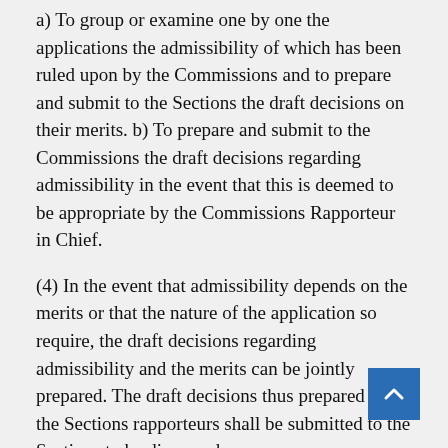a) To group or examine one by one the applications the admissibility of which has been ruled upon by the Commissions and to prepare and submit to the Sections the draft decisions on their merits. b) To prepare and submit to the Commissions the draft decisions regarding admissibility in the event that this is deemed to be appropriate by the Commissions Rapporteur in Chief.
(4) In the event that admissibility depends on the merits or that the nature of the application so require, the draft decisions regarding admissibility and the merits can be jointly prepared. The draft decisions thus prepared by the Sections rapporteurs shall be submitted to the Sections to be discussed.
(5) The distribution of the applications pending at the Sections amongst the rapporteurs and deputy rapporteurs shall be ensured by the Rapporteur in Chief. The nature of the matter, the experience and expertise of the rapporteur shall be taken into consideration when